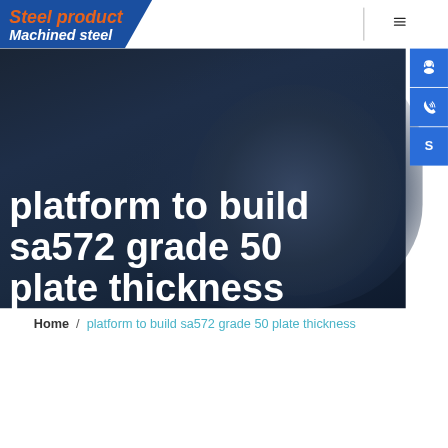Steel product / Machined steel
platform to build sa572 grade 50 plate thickness
Home / platform to build sa572 grade 50 plate thickness